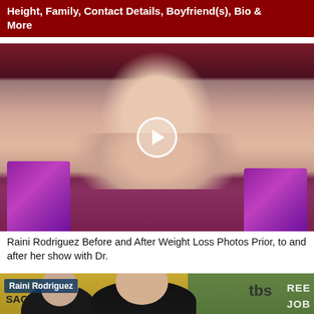Height, Family, Contact Details, Boyfriend(s), Bio & More
[Figure (photo): Portrait photo of Raini Rodriguez with a play button overlay, wearing a purple sequined dress.]
Raini Rodriguez Before and After Weight Loss Photos Prior, to and after her show with Dr.
[Figure (photo): Raini Rodriguez and Rico Rodriguez at a SAG Awards red carpet event, both wearing black formal attire with graduation caps, with a play button overlay. The image shows the tbs logo and a green background.]